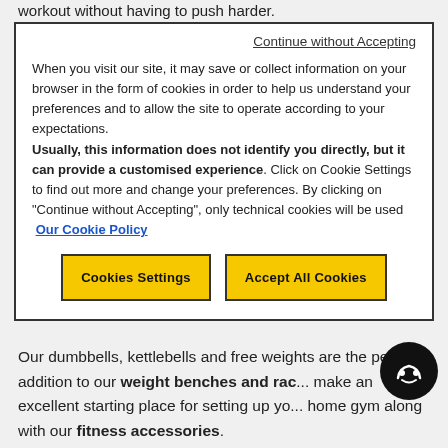workout without having to push harder.
Continue without Accepting

When you visit our site, it may save or collect information on your browser in the form of cookies in order to help us understand your preferences and to allow the site to operate according to your expectations.
Usually, this information does not identify you directly, but it can provide a customised experience. Click on Cookie Settings to find out more and change your preferences. By clicking on "Continue without Accepting", only technical cookies will be used
Our Cookie Policy
Our dumbbells, kettlebells and free weights are the perfect addition to our weight benches and rac... make an excellent starting place for setting up yo... home gym along with our fitness accessories.